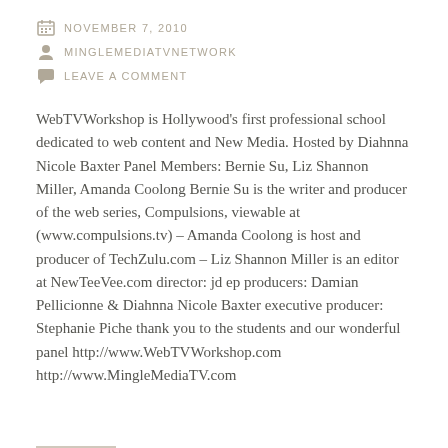NOVEMBER 7, 2010
MINGLEMEDIATVNETWORK
LEAVE A COMMENT
WebTVWorkshop is Hollywood's first professional school dedicated to web content and New Media. Hosted by Diahnna Nicole Baxter Panel Members: Bernie Su, Liz Shannon Miller, Amanda Coolong Bernie Su is the writer and producer of the web series, Compulsions, viewable at (www.compulsions.tv) – Amanda Coolong is host and producer of TechZulu.com – Liz Shannon Miller is an editor at NewTeeVee.com director: jd ep producers: Damian Pellicionne & Diahnna Nicole Baxter executive producer: Stephanie Piche thank you to the students and our wonderful panel http://www.WebTVWorkshop.com http://www.MingleMediaTV.com